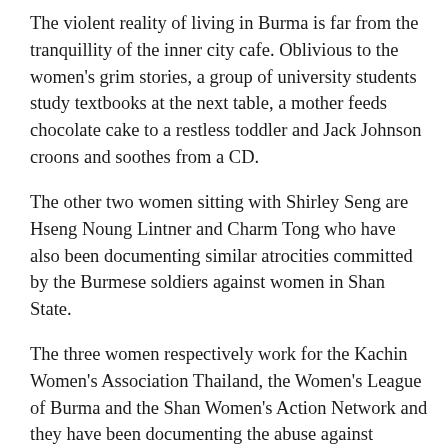The violent reality of living in Burma is far from the tranquillity of the inner city cafe. Oblivious to the women's grim stories, a group of university students study textbooks at the next table, a mother feeds chocolate cake to a restless toddler and Jack Johnson croons and soothes from a CD.
The other two women sitting with Shirley Seng are Hseng Noung Lintner and Charm Tong who have also been documenting similar atrocities committed by the Burmese soldiers against women in Shan State.
The three women respectively work for the Kachin Women's Association Thailand, the Women's League of Burma and the Shan Women's Action Network and they have been documenting the abuse against women for decades. Hseng Noung Lintner says it is impossible to know how many women the Burmese Army has raped.
"We are only able to document the tip _ many more cases in remote areas go unreported. Women are angry. They want